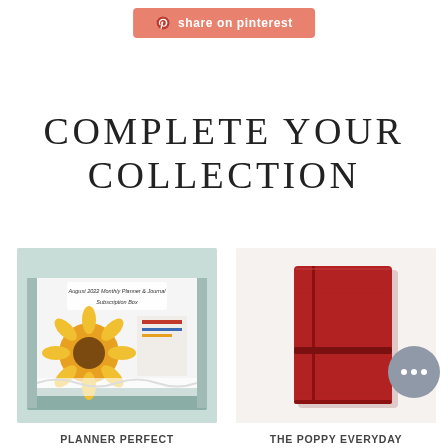[Figure (screenshot): Pinterest share button — salmon/coral rounded rectangle with Pinterest logo icon and text 'share on pinterest' in white]
COMPLETE YOUR COLLECTION
[Figure (photo): Open subscription box with sunflower illustration planner and journal items, August 2022 Monthly Planner & Journal Subscription Box label visible]
[Figure (photo): Red leather traveler's notebook / journal with elastic closure, on white background]
PLANNER PERFECT MONTHLY PLANNER & JOURNAL SUBSCRIPTION BOX
THE POPPY EVERYDAY ORGANIZED LEATHER TRAVELER'S NOTEBOOK